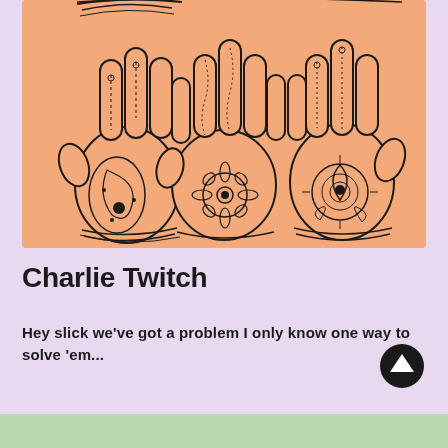[Figure (illustration): Illustration of three pairs of hands on a peach/salmon background, decorated with intricate henna/mehndi patterns including paisley, floral, and geometric designs on fingers and palms.]
Charlie Twitch
Hey slick we've got a problem I only know one way to solve 'em...